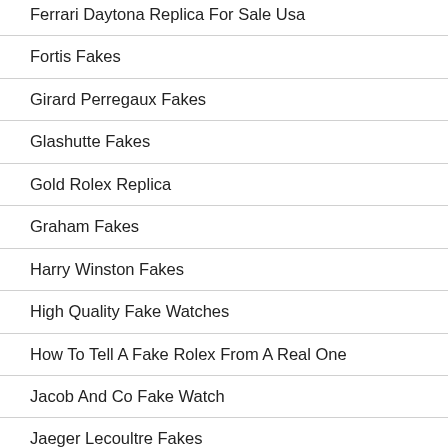Ferrari Daytona Replica For Sale Usa
Fortis Fakes
Girard Perregaux Fakes
Glashutte Fakes
Gold Rolex Replica
Graham Fakes
Harry Winston Fakes
High Quality Fake Watches
How To Tell A Fake Rolex From A Real One
Jacob And Co Fake Watch
Jaeger Lecoultre Fakes